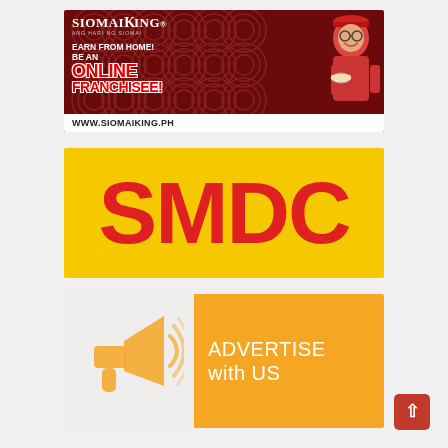[Figure (illustration): Siomai King advertisement banner with dark red background and wave pattern. Text reads: SIOMAI KING, ANG HARI NG SIOMAI, EARN FROM HOME! BE AN ONLINE FRANCHISEE! WWW.SIOMAIKING.PH. Features a person in red shirt holding food.]
[Figure (logo): SMDC logo on bright yellow background with large red bold letters SMDC]
[Figure (illustration): Advertise with US banner. Left side light gray with orange megaphone/loudspeaker icon. Right side orange background with white text: ADVERTISE with US]